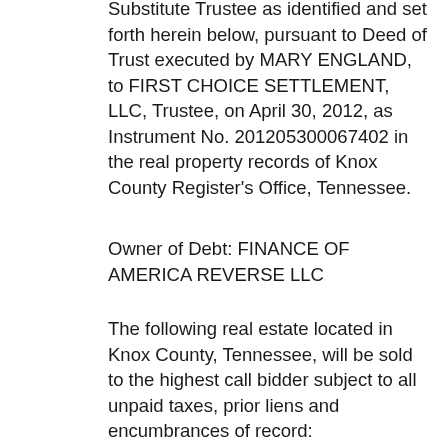Substitute Trustee as identified and set forth herein below, pursuant to Deed of Trust executed by MARY ENGLAND, to FIRST CHOICE SETTLEMENT, LLC, Trustee, on April 30, 2012, as Instrument No. 201205300067402 in the real property records of Knox County Register's Office, Tennessee.
Owner of Debt: FINANCE OF AMERICA REVERSE LLC
The following real estate located in Knox County, Tennessee, will be sold to the highest call bidder subject to all unpaid taxes, prior liens and encumbrances of record:
The land referred to herein below is situated in the County of Knox, State of Tennessee, and is described as follows:
Beginning on an iron pin in the Northeast right